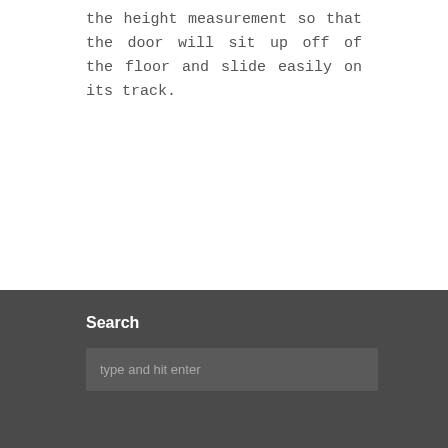the height measurement so that the door will sit up off of the floor and slide easily on its track.
Search
type and hit enter